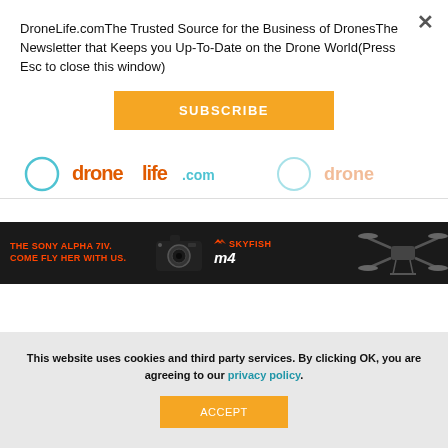DroneLife.comThe Trusted Source for the Business of DronesThe Newsletter that Keeps you Up-To-Date on the Drone World(Press Esc to close this window)
SUBSCRIBE
[Figure (logo): DroneLife logo strip with circular icons and text]
[Figure (infographic): Dark advertisement banner: THE SONY ALPHA 7IV. COME FLY HER WITH US. with camera image and SKYFISH m4 logo with drone image on right]
This website uses cookies and third party services. By clicking OK, you are agreeing to our privacy policy.
ACCEPT